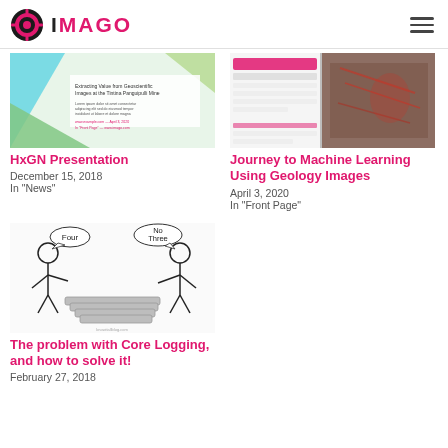IMAGO
[Figure (screenshot): Thumbnail image for HxGN Presentation showing a document cover with geometric shapes and text]
HxGN Presentation
December 15, 2018
In "News"
[Figure (screenshot): Thumbnail image for Journey to Machine Learning Using Geology Images showing software UI and geological core images]
Journey to Machine Learning Using Geology Images
April 3, 2020
In "Front Page"
[Figure (illustration): Cartoon illustration of two people arguing about core logging with speech bubbles saying Four and No Three, with drill cores between them]
The problem with Core Logging, and how to solve it!
February 27, 2018